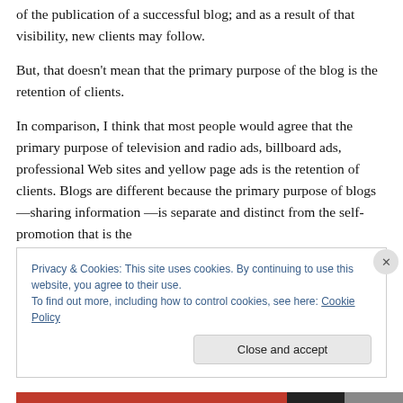of the publication of a successful blog; and as a result of that visibility, new clients may follow.
But, that doesn't mean that the primary purpose of the blog is the retention of clients.
In comparison, I think that most people would agree that the primary purpose of television and radio ads, billboard ads, professional Web sites and yellow page ads is the retention of clients. Blogs are different because the primary purpose of blogs—sharing information —is separate and distinct from the self-promotion that is the
Privacy & Cookies: This site uses cookies. By continuing to use this website, you agree to their use.
To find out more, including how to control cookies, see here: Cookie Policy
Close and accept